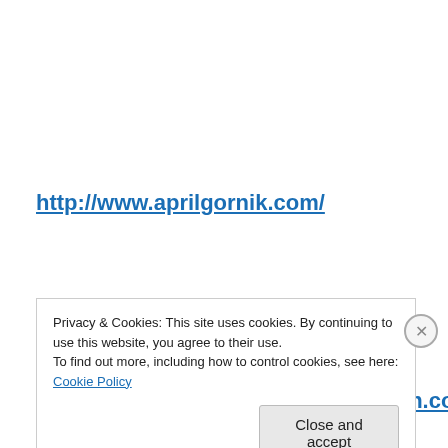http://www.aprilgornik.com/
http://www.lucywinton.com/
Privacy & Cookies: This site uses cookies. By continuing to use this website, you agree to their use.
To find out more, including how to control cookies, see here: Cookie Policy
Close and accept